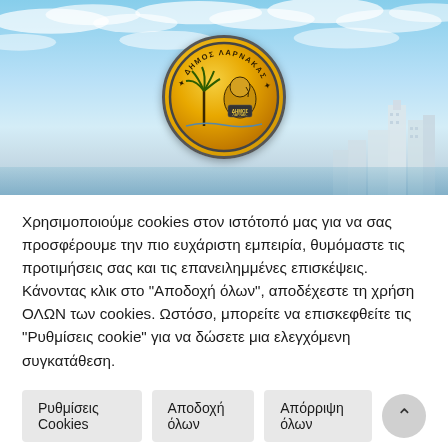[Figure (photo): Hero banner showing a coastal city skyline (Larnaca, Cyprus) under a blue sky with clouds. A golden municipal seal/coin of the Municipality of Larnaca is centered in the image, featuring a palm tree, a historical figure, and Greek text 'ΔΗΜΟΣ ΛΑΡΝΑΚΑΣ'.]
Χρησιμοποιούμε cookies στον ιστότοπό μας για να σας προσφέρουμε την πιο ευχάριστη εμπειρία, θυμόμαστε τις προτιμήσεις σας και τις επανειλημμένες επισκέψεις. Κάνοντας κλικ στο "Αποδοχή όλων", αποδέχεστε τη χρήση ΟΛΩΝ των cookies. Ωστόσο, μπορείτε να επισκεφθείτε τις "Ρυθμίσεις cookie" για να δώσετε μια ελεγχόμενη συγκατάθεση.
Ρυθμίσεις Cookies
Αποδοχή όλων
Απόρριψη όλων
Διαβάστε περισσότερα